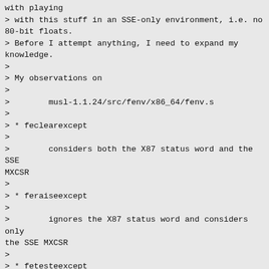with playing
> with this stuff in an SSE-only environment, i.e. no 80-bit floats.
> Before I attempt anything, I need to expand my knowledge.
>
> My observations on
>
>        musl-1.1.24/src/fenv/x86_64/fenv.s
>
> * feclearexcept
>
>        considers both the X87 status word and the SSE MXCSR
>
> * feraiseexcept
>
>        ignores the X87 status word and considers only the SSE MXCSR
>
> * fetesteexcept
>
>        considers both the X87 status word and the SSE MXCSR
>
> * fesetround
>
>        considers both the X87 control word and the SSE MXCSR
>
> * fegetround